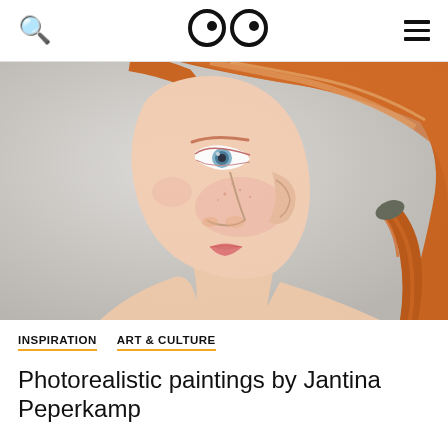🔍 👀 ≡
[Figure (photo): Close-up photorealistic painting of a young woman with red/auburn hair in a ponytail, pale skin with freckles, blue eyes, looking to the left. Light grey background. Bare shoulders visible at bottom.]
INSPIRATION   ART & CULTURE
Photorealistic paintings by Jantina Peperkamp